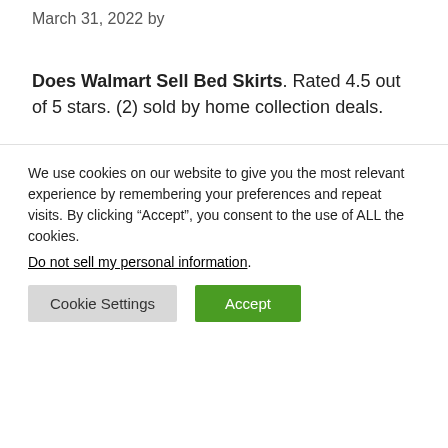March 31, 2022 by
Does Walmart Sell Bed Skirts. Rated 4.5 out of 5 stars. (2) sold by home collection deals.
[Figure (photo): Partially visible product image with grey tones, framed with a border]
We use cookies on our website to give you the most relevant experience by remembering your preferences and repeat visits. By clicking “Accept”, you consent to the use of ALL the cookies.
Do not sell my personal information.